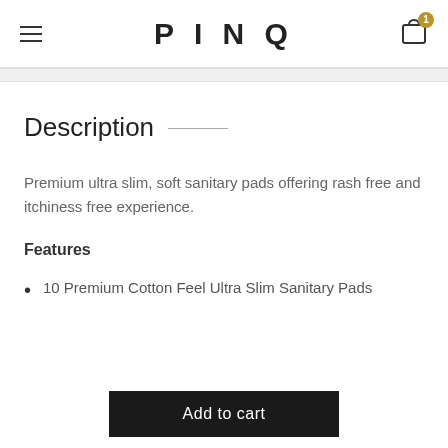PINQ
Description
Premium ultra slim, soft sanitary pads offering rash free and itchiness free experience.
Features
10 Premium Cotton Feel Ultra Slim Sanitary Pads